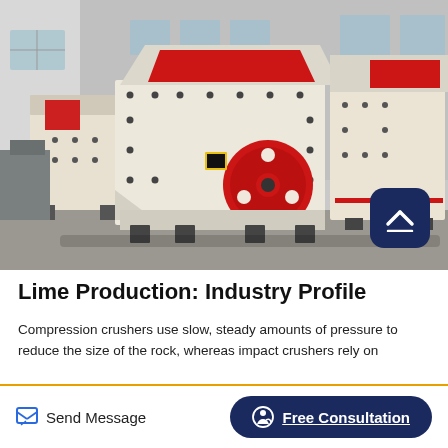[Figure (photo): Industrial impact/hammer crusher machines in a factory setting. Large white and red crushing equipment with a prominent red flywheel/pulley visible. Multiple crusher units are shown in a warehouse with metal roof structure visible above.]
Lime Production: Industry Profile
Compression crushers use slow, steady amounts of pressure to reduce the size of the rock, whereas impact crushers rely on